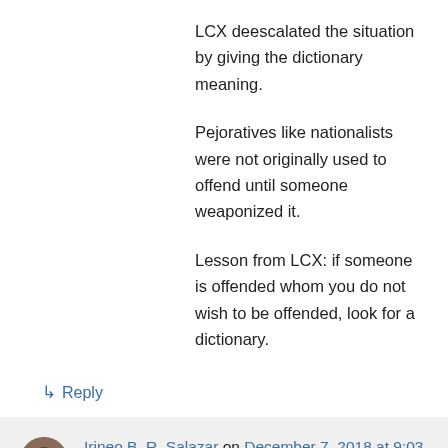LCX deescalated the situation by giving the dictionary meaning.
Pejoratives like nationalists were not originally used to offend until someone weaponized it.
Lesson from LCX: if someone is offended whom you do not wish to be offended, look for a dictionary.
↳ Reply
Irineo B. R. Salazar on December 7, 2018 at 9:03 am
Preferably a thick one like the classic Webster or the Tagalog Panganiban.